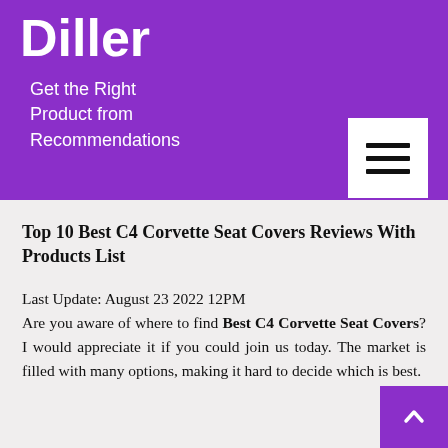Diller
Get the Right Product from Recommendations
Top 10 Best C4 Corvette Seat Covers Reviews With Products List
Last Update: August 23 2022 12PM
Are you aware of where to find Best C4 Corvette Seat Covers? I would appreciate it if you could join us today. The market is filled with many options, making it hard to decide which is best.